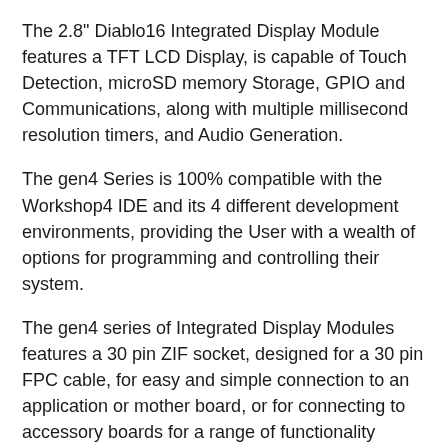The 2.8" Diablo16 Integrated Display Module features a TFT LCD Display, is capable of Touch Detection, microSD memory Storage, GPIO and Communications, along with multiple millisecond resolution timers, and Audio Generation.
The gen4 Series is 100% compatible with the Workshop4 IDE and its 4 different development environments, providing the User with a wealth of options for programming and controlling their system.
The gen4 series of Integrated Display Modules features a 30 pin ZIF socket, designed for a 30 pin FPC cable, for easy and simple connection to an application or mother board, or for connecting to accessory boards for a range of functionality advancements.
The gen4 series of modules has been designed to minimise the impact of display related circuitry, and